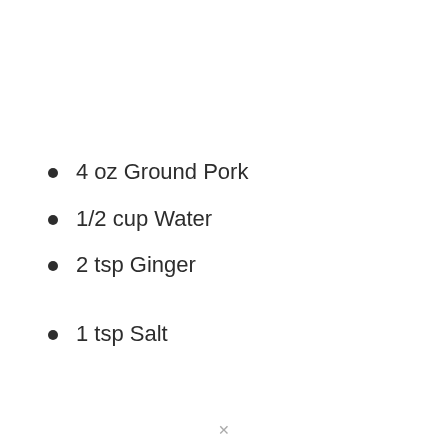4 oz Ground Pork
1/2 cup Water
2 tsp Ginger
1 tsp Salt